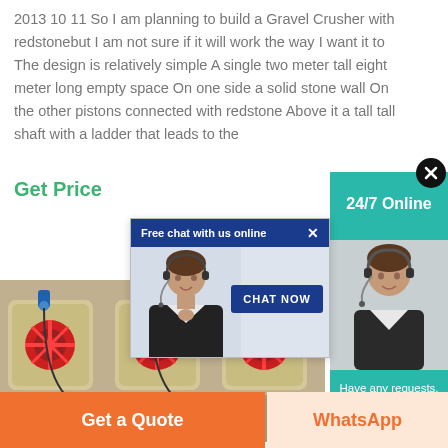2013 10 11 So I am planning to build a Gravel Crusher with redstonebut I am not sure if it will work the way I want it to The design is relatively simple A single two meter tall eight meter long empty space On one side a solid stone wall On the other pistons connected with redstone Above it a tall tall shaft with a ladder that leads to the
Get Price
[Figure (screenshot): Teal sidebar with '24/7 Online' label and a close (X) button]
[Figure (screenshot): Chat popup with header 'Free chat with us online', a customer service representative photo, and a 'CHAT NOW' button]
[Figure (photo): Industrial machinery / gravel crushers with red flywheels and blue hydraulic components]
Have any requests, click here.
Quotation
Get a Quote
WhatsApp